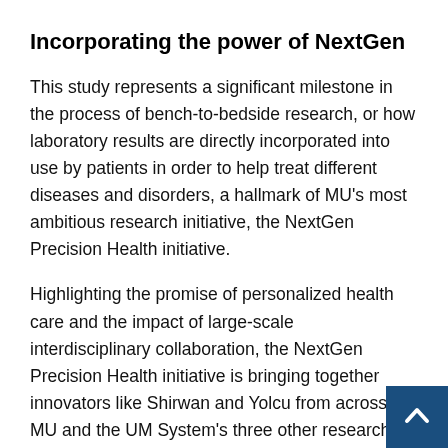Incorporating the power of NextGen
This study represents a significant milestone in the process of bench-to-bedside research, or how laboratory results are directly incorporated into use by patients in order to help treat different diseases and disorders, a hallmark of MU's most ambitious research initiative, the NextGen Precision Health initiative.
Highlighting the promise of personalized health care and the impact of large-scale interdisciplinary collaboration, the NextGen Precision Health initiative is bringing together innovators like Shirwan and Yolcu from across MU and the UM System's three other research universities in pursuit of life-changing precision health advancements. It's a collaborative effort to leverage the research strengths of MU toward a better future for the health of Missourians